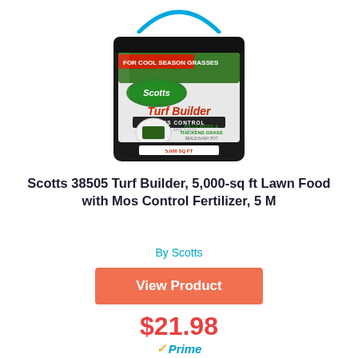[Figure (logo): Amazon logo arc (blue partial circle) at top of page]
[Figure (photo): Scotts Turf Builder Moss Control and Lawn Food fertilizer bag product image]
Scotts 38505 Turf Builder, 5,000-sq ft Lawn Food with Mos Control Fertilizer, 5 M
By Scotts
View Product
$21.98
Prime